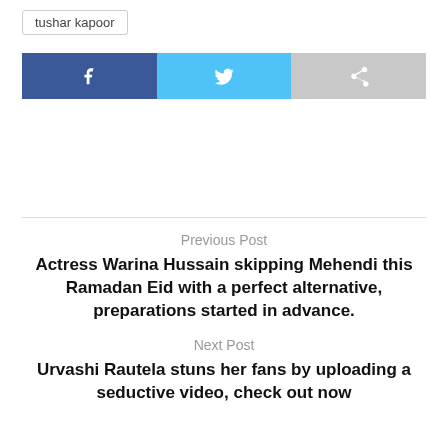tushar kapoor
[Figure (infographic): Social share buttons: Facebook (blue), Twitter (light blue), Share/Other (grey)]
Previous Post
Actress Warina Hussain skipping Mehendi this Ramadan Eid with a perfect alternative, preparations started in advance.
Next Post
Urvashi Rautela stuns her fans by uploading a seductive video, check out now